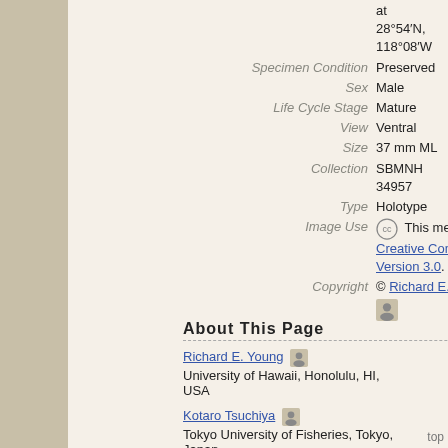| Field | Value |
| --- | --- |
|  | at 28°54′N, 118°08′W |
| Specimen Condition | Preserved |
| Sex | Male |
| Life Cycle Stage | Mature |
| View | Ventral |
| Size | 37 mm ML |
| Collection | SBMNH 34957 |
| Type | Holotype |
| Image Use | [CC icon] This media file is licensed under the Creative Commons Attribution License - Version 3.0. |
| Copyright | © Richard E. Young [person icon] |
About This Page
Richard E. Young
University of Hawaii, Honolulu, HI, USA
Kotaro Tsuchiya
Tokyo University of Fisheries, Tokyo, Japan